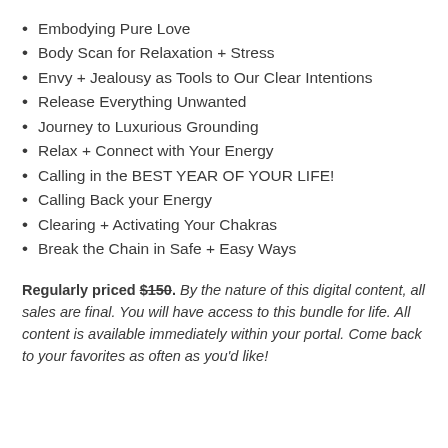Embodying Pure Love
Body Scan for Relaxation + Stress
Envy + Jealousy as Tools to Our Clear Intentions
Release Everything Unwanted
Journey to Luxurious Grounding
Relax + Connect with Your Energy
Calling in the BEST YEAR OF YOUR LIFE!
Calling Back your Energy
Clearing + Activating Your Chakras
Break the Chain in Safe + Easy Ways
Regularly priced $150. By the nature of this digital content, all sales are final. You will have access to this bundle for life. All content is available immediately within your portal. Come back to your favorites as often as you'd like!